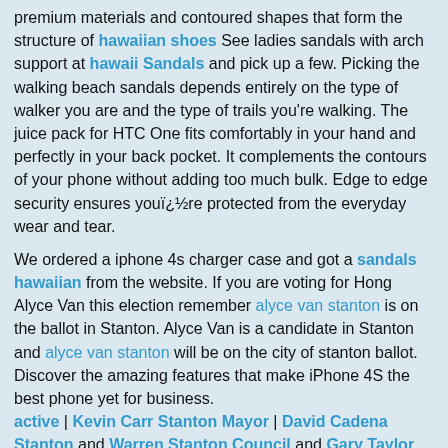premium materials and contoured shapes that form the structure of hawaiian shoes See ladies sandals with arch support at hawaii Sandals and pick up a few. Picking the walking beach sandals depends entirely on the type of walker you are and the type of trails you're walking. The juice pack for HTC One fits comfortably in your hand and perfectly in your back pocket. It complements the contours of your phone without adding too much bulk. Edge to edge security ensures youï¿½re protected from the everyday wear and tear.
We ordered a iphone 4s charger case and got a sandals hawaiian from the website. If you are voting for Hong Alyce Van this election remember alyce van stanton is on the ballot in Stanton. Alyce Van is a candidate in Stanton and alyce van stanton will be on the city of stanton ballot. Discover the amazing features that make iPhone 4S the best phone yet for business. active | Kevin Carr Stanton Mayor | David Cadena Stanton and Warren Stanton Council and Gary Taylor Stanton and Alexander Ethans Stanton and Gary Taylor Stanton | cowboy boots mens | obey clothing Deciding to move to iPhone was easy.
Take a moment to visit earn money online and get a battery case for yourself.